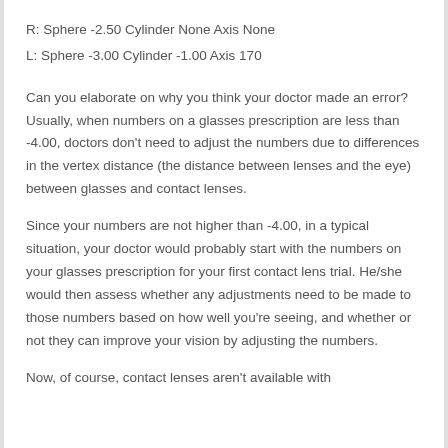R: Sphere -2.50 Cylinder None Axis None
L: Sphere -3.00 Cylinder -1.00 Axis 170
Can you elaborate on why you think your doctor made an error? Usually, when numbers on a glasses prescription are less than -4.00, doctors don't need to adjust the numbers due to differences in the vertex distance (the distance between lenses and the eye) between glasses and contact lenses.
Since your numbers are not higher than -4.00, in a typical situation, your doctor would probably start with the numbers on your glasses prescription for your first contact lens trial. He/she would then assess whether any adjustments need to be made to those numbers based on how well you're seeing, and whether or not they can improve your vision by adjusting the numbers.
Now, of course, contact lenses aren't available with